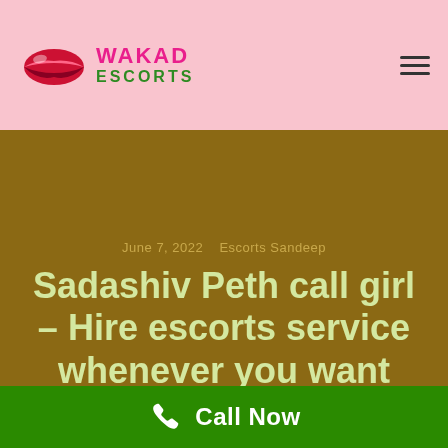Wakad Escorts — Logo and navigation header
June 7, 2022   Escorts Sandeep
Sadashiv Peth call girl – Hire escorts service whenever you want
Welcome to the perfect VIP escorts agency in Sadashiv
Call Now